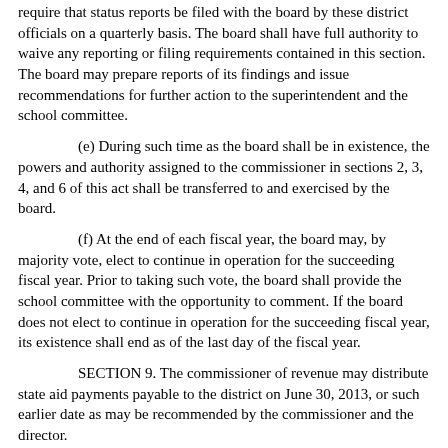require that status reports be filed with the board by these district officials on a quarterly basis. The board shall have full authority to waive any reporting or filing requirements contained in this section. The board may prepare reports of its findings and issue recommendations for further action to the superintendent and the school committee.
(e) During such time as the board shall be in existence, the powers and authority assigned to the commissioner in sections 2, 3, 4, and 6 of this act shall be transferred to and exercised by the board.
(f) At the end of each fiscal year, the board may, by majority vote, elect to continue in operation for the succeeding fiscal year. Prior to taking such vote, the board shall provide the school committee with the opportunity to comment. If the board does not elect to continue in operation for the succeeding fiscal year, its existence shall end as of the last day of the fiscal year.
SECTION 9. The commissioner of revenue may distribute state aid payments payable to the district on June 30, 2013, or such earlier date as may be recommended by the commissioner and the director.
SECTION 10. This act shall take effect upon its passage.